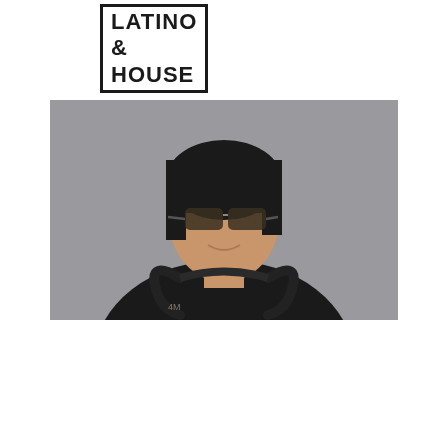LATINO & HOUSE
BIO & BOOKING
[Figure (photo): DJ woman with short dark hair, sunglasses, wearing headphones around neck, black sleeveless top, gray background]
SIN'DEE
HOUSE, TECH HOUSE, TECHNO